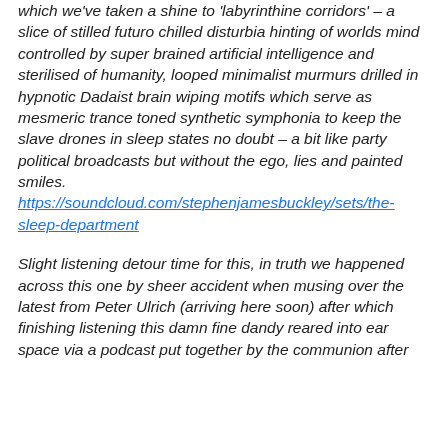which we've taken a shine to 'labyrinthine corridors' – a slice of stilled futuro chilled disturbia hinting of worlds mind controlled by super brained artificial intelligence and sterilised of humanity, looped minimalist murmurs drilled in hypnotic Dadaist brain wiping motifs which serve as mesmeric trance toned synthetic symphonia to keep the slave drones in sleep states no doubt – a bit like party political broadcasts but without the ego, lies and painted smiles.
https://soundcloud.com/stephenjamesbuckley/sets/the-sleep-department
Slight listening detour time for this, in truth we happened across this one by sheer accident when musing over the latest from Peter Ulrich (arriving here soon) after which finishing listening this damn fine dandy reared into ear space via a podcast put together by the communion after